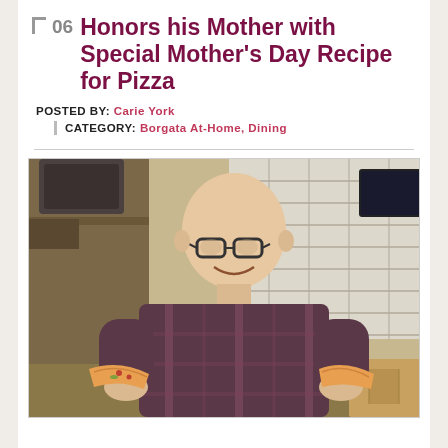06 Honors his Mother with Special Mother's Day Recipe for Pizza
POSTED BY: Carie York
CATEGORY: Borgata At-Home, Dining
[Figure (photo): A smiling bald man with glasses in a plaid shirt holding two slices of pizza in a kitchen with white tile walls and wood cabinetry]